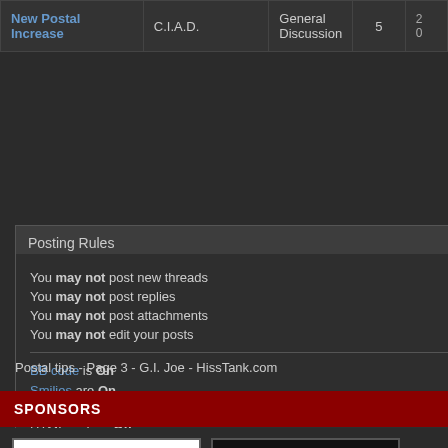| Thread | Forum | Replies |  |
| --- | --- | --- | --- |
| New Postal Increase | C.I.A.D. | General Discussion | 5 | 2
0 |
Posting Rules
You may not post new threads
You may not post replies
You may not post attachments
You may not edit your posts
BB code is On
Smilies are On
[IMG] code is On
HTML code is Off
Forum Rules
Forum Jump
G.I. Joe Buy Sell Trade
Postal tips - Page 3 - G.I. Joe - HissTank.com
SPONSORS
[Figure (logo): BigBadToyStore logo — red and black text on white background]
[Figure (photo): Dark sponsor advertisement box]